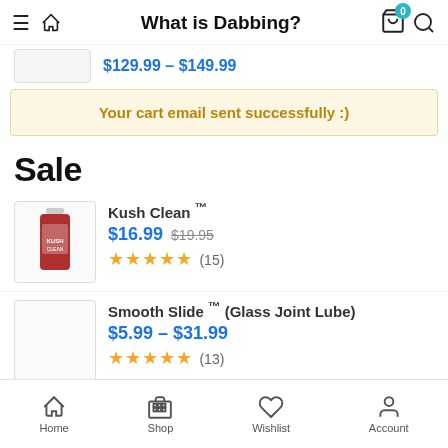What is Dabbing?
$129.99 – $149.99
Your cart email sent successfully :)
Sale
[Figure (photo): Product image of Kush Clean bottle]
Kush Clean ™
$16.99  $19.95
★★★★★ (15)
[Figure (photo): Product image placeholder for Smooth Slide (Glass Joint Lube)]
Smooth Slide ™ (Glass Joint Lube)
$5.99 – $31.99
★★★★★ (13)
Home  Shop  Wishlist  Account